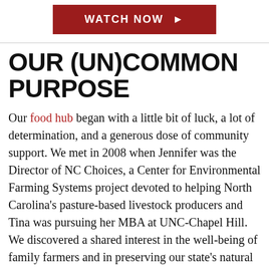[Figure (other): Red button with white bold text 'WATCH NOW' and a right-pointing arrow triangle]
OUR (UN)COMMON PURPOSE
Our food hub began with a little bit of luck, a lot of determination, and a generous dose of community support. We met in 2008 when Jennifer was the Director of NC Choices, a Center for Environmental Farming Systems project devoted to helping North Carolina's pasture-based livestock producers and Tina was pursuing her MBA at UNC-Chapel Hill. We discovered a shared interest in the well-being of family farmers and in preserving our state's natural beauty and agricultural heritage. We saw in each other kindred spirits who are energized by solving